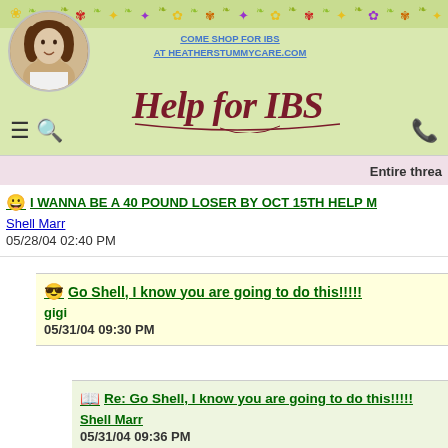COME SHOP FOR IBS AT HEATHERSTUMMYCARE.COM | Help for IBS
Entire threa...
I WANNA BE A 40 POUND LOSER BY OCT 15TH HELP M...
Shell Marr
05/28/04 02:40 PM
Go Shell, I know you are going to do this!!!!!
gigi
05/31/04 09:30 PM
Re: Go Shell, I know you are going to do this!!!!!
Shell Marr
05/31/04 09:36 PM